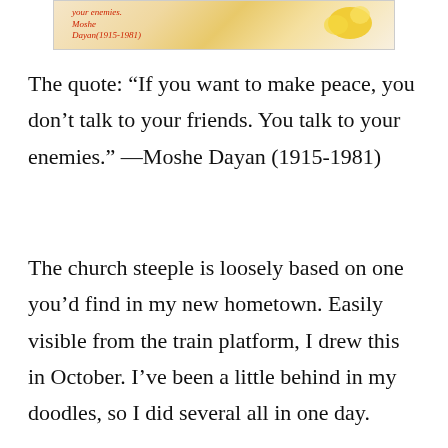[Figure (illustration): A partial image showing handwritten text in red cursive and a yellow shape on a light background. The handwriting appears to reference 'your enemies' and 'Moshe Dayan (1915-1981)'.]
The quote: “If you want to make peace, you don’t talk to your friends. You talk to your enemies.” —Moshe Dayan (1915-1981)
The church steeple is loosely based on one you’d find in my new hometown. Easily visible from the train platform, I drew this in October. I’ve been a little behind in my doodles, so I did several all in one day.